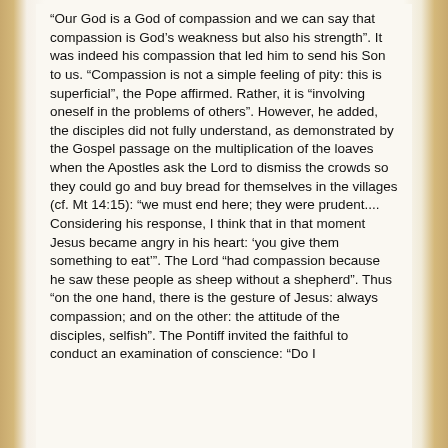“Our God is a God of compassion and we can say that compassion is God’s weakness but also his strength”. It was indeed his compassion that led him to send his Son to us. “Compassion is not a simple feeling of pity: this is superficial”, the Pope affirmed. Rather, it is “involving oneself in the problems of others”. However, he added, the disciples did not fully understand, as demonstrated by the Gospel passage on the multiplication of the loaves when the Apostles ask the Lord to dismiss the crowds so they could go and buy bread for themselves in the villages (cf. Mt 14:15): “we must end here; they were prudent.... Considering his response, I think that in that moment Jesus became angry in his heart: ‘you give them something to eat’”. The Lord “had compassion because he saw these people as sheep without a shepherd”. Thus “on the one hand, there is the gesture of Jesus: always compassion; and on the other: the attitude of the disciples, selfish”. The Pontiff invited the faithful to conduct an examination of conscience: “Do I...